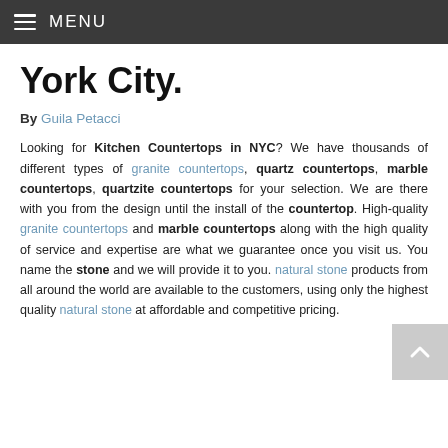≡ MENU
York City.
By Guila Petacci
Looking for Kitchen Countertops in NYC? We have thousands of different types of granite countertops, quartz countertops, marble countertops, quartzite countertops for your selection. We are there with you from the design until the install of the countertop. High-quality granite countertops and marble countertops along with the high quality of service and expertise are what we guarantee once you visit us. You name the stone and we will provide it to you. natural stone products from all around the world are available to the customers, using only the highest quality natural stone at affordable and competitive pricing.